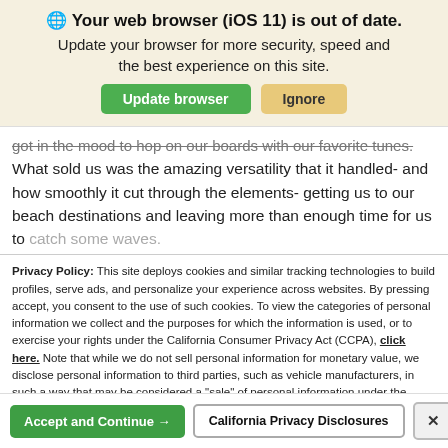🌐 Your web browser (iOS 11) is out of date.
Update your browser for more security, speed and the best experience on this site.
got in the mood to hop on our boards with our favorite tunes. What sold us was the amazing versatility that it handled- and how smoothly it cut through the elements- getting us to our beach destinations and leaving more than enough time for us to catch some waves.
Privacy Policy: This site deploys cookies and similar tracking technologies to build profiles, serve ads, and personalize your experience across websites. By pressing accept, you consent to the use of such cookies. To view the categories of personal information we collect and the purposes for which the information is used, or to exercise your rights under the California Consumer Privacy Act (CCPA), click here. Note that while we do not sell personal information for monetary value, we disclose personal information to third parties, such as vehicle manufacturers, in such a way that may be considered a "sale" of personal information under the CCPA. To direct us to stop the sale of your personal information, or to re-access these settings or disclosures at anytime, click the following icon or link:
Do Not Sell My Personal Information
Language: English   Powered by ComplyAuto
Accept and Continue →   California Privacy Disclosures   ×